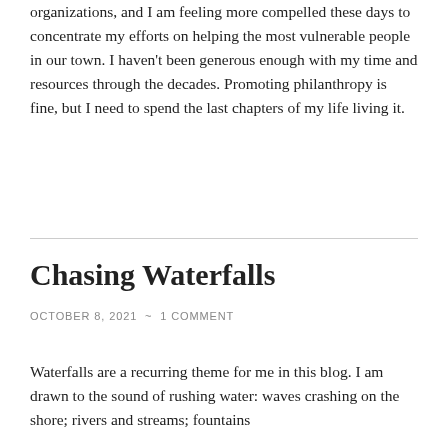organizations, and I am feeling more compelled these days to concentrate my efforts on helping the most vulnerable people in our town. I haven't been generous enough with my time and resources through the decades. Promoting philanthropy is fine, but I need to spend the last chapters of my life living it.
Chasing Waterfalls
OCTOBER 8, 2021  ~  1 COMMENT
Waterfalls are a recurring theme for me in this blog. I am drawn to the sound of rushing water: waves crashing on the shore; rivers and streams; fountains